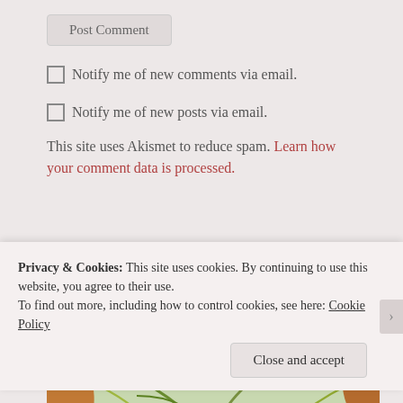Post Comment
Notify me of new comments via email.
Notify me of new posts via email.
This site uses Akismet to reduce spam. Learn how your comment data is processed.
[Figure (photo): Greenhouse interior with tropical plants, palm leaves, and a hanging woven basket lamp. Glass roof panels visible above.]
Privacy & Cookies: This site uses cookies. By continuing to use this website, you agree to their use.
To find out more, including how to control cookies, see here: Cookie Policy
Close and accept